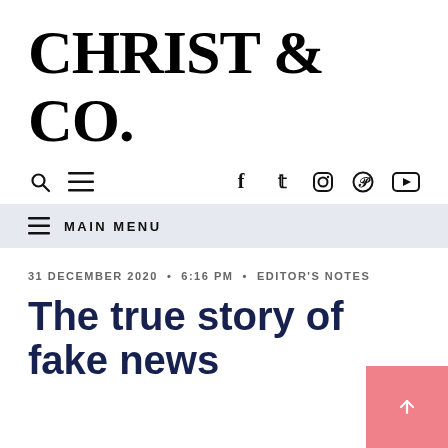CHRIST & CO.
[Figure (screenshot): Website toolbar with search icon, hamburger menu icon on left, and social media icons (Facebook, Twitter, Instagram, Pinterest, YouTube) on right]
MAIN MENU
31 DECEMBER 2020 • 6:16 PM • EDITOR'S NOTES
The true story of fake news